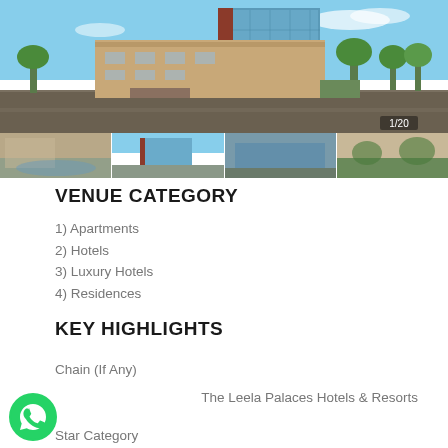[Figure (photo): Hotel building exterior photo collage — main large photo of modern glass and brick hotel building with blue sky, plus four thumbnail photos below showing hotel interior and exterior views. Photo counter shows 1/20.]
VENUE CATEGORY
1) Apartments
2) Hotels
3) Luxury Hotels
4) Residences
KEY HIGHLIGHTS
Chain (If Any)
The Leela Palaces Hotels & Resorts
Star Category
[Figure (logo): WhatsApp green circular icon in the bottom left corner]